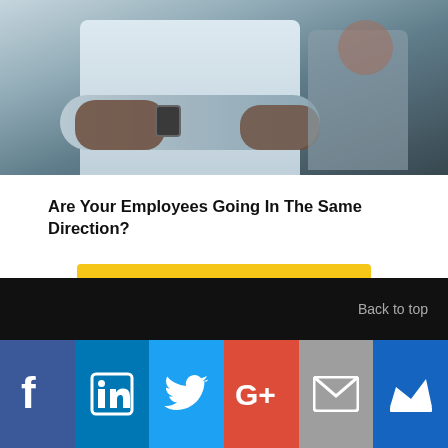[Figure (photo): A man with arms crossed wearing a checkered shirt and watch, standing in a workplace setting with another person in the background]
Are Your Employees Going In The Same Direction?
View employer articles
Back to top
[Figure (infographic): Social media sharing bar with icons: Facebook, LinkedIn, Twitter, Google+, Email, Crown/bookmark]